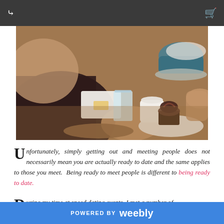[Figure (photo): Overhead view of two people at a café table with coffee, water glasses, dishes, and a chocolate cupcake on a plate]
Unfortunately, simply getting out and meeting people does not necessarily mean you are actually ready to date and the same applies to those you meet. Being ready to meet people is different to being ready to date.
During my time at speed dating events, I met a number of
POWERED BY weebly